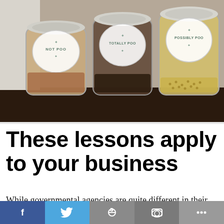[Figure (photo): Three glass jars on a dark wooden surface with circular labels. Left jar labeled 'NOT POO', middle jar labeled 'TOTALLY POO', right jar labeled 'POSSIBLY POO'. Jars contain various organic/dry contents.]
These lessons apply to your business
While governmental agencies are quite different in their operations and expectations from private businesses, there are many similarities between the requirements placed upon them when dealing with the public. Government agencies, though, have a unique